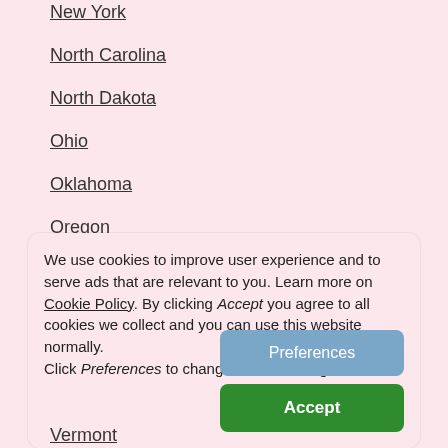New York
North Carolina
North Dakota
Ohio
Oklahoma
Oregon
Pennsylvania
Rhode Island
South Carolina
South Dakota
We use cookies to improve user experience and to serve ads that are relevant to you. Learn more on Cookie Policy. By clicking Accept you agree to all cookies we collect and you can use this website normally. Click Preferences to change cookie settings.
Vermont